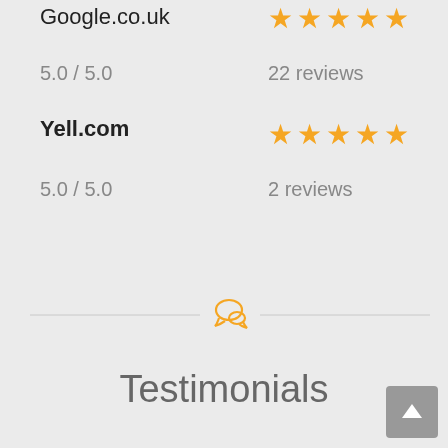Google.co.uk
[Figure (infographic): 5 gold stars rating for Google.co.uk]
5.0 / 5.0
22 reviews
Yell.com
[Figure (infographic): 5 gold stars rating for Yell.com]
5.0 / 5.0
2 reviews
[Figure (infographic): Horizontal divider with orange speech bubble chat icon in the center]
Testimonials